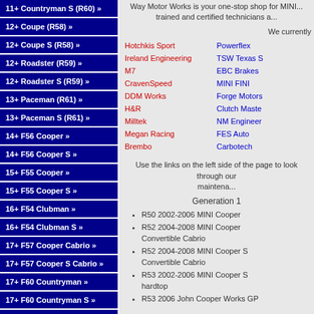11+ Countryman S (R60) »
12+ Coupe (R58) »
12+ Coupe S (R58) »
12+ Roadster (R59) »
12+ Roadster S (R59) »
13+ Paceman (R61) »
13+ Paceman S (R61) »
14+ F56 Cooper »
14+ F56 Cooper S »
15+ F55 Cooper »
15+ F55 Cooper S »
16+ F54 Clubman »
16+ F54 Clubman S »
17+ F57 Cooper Cabrio »
17+ F57 Cooper S Cabrio »
17+ F60 Countryman »
17+ F60 Countryman S »
Packages
Performance »
Brakes »
Way Motor Works is your one-stop shop for MINI... trained and certified technicians a...
We currently
Hotchkis Sport, Ireland Engineering, M7, CravenSpeed, DDM Works, H&R, Milltek, Megan Racing, Brembo, Powerflex, TSW Texas S, EBC Brakes, MINI FINI, Forge Motors, Clutch Maste, NM Engineer, FES Auto, Carbotech
Use the links on the left side of the page to look through our maintenance...
Generation 1
R50 2002-2006 MINI Cooper
R52 2004-2008 MINI Cooper Convertible Cabrio
R52 2004-2008 MINI Cooper S Convertible Cabrio
R53 2002-2006 MINI Cooper S hardtop
R53 2006 John Cooper Works GP